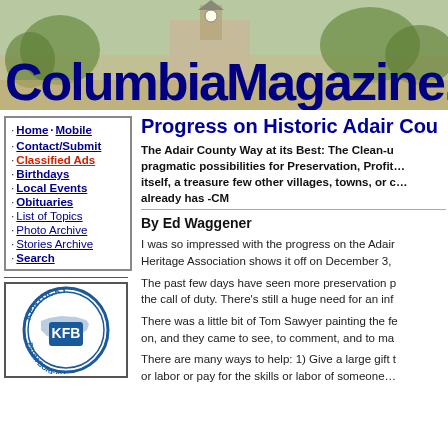[Figure (illustration): ColumbiaMagazine.com header banner with town photo background and large dark blue bold title text]
· Home · Mobile
· Contact/Submit
· Classified Ads
· Birthdays
· Local Events
· Obituaries
· List of Topics
· Photo Archive
· Stories Archive
· Search
[Figure (logo): Kentucky Farm Bureau (KFB) circular logo with blue and white colors and Kentucky state outline]
Progress on Historic Adair Cou
The Adair County Way at its Best: The Clean-up pragmatic possibilities for Preservation, Profit... itself, a treasure few other villages, towns, or c... already has -CM
By Ed Waggener
I was so impressed with the progress on the Adai... Heritage Association shows it off on December 3,
The past few days have seen more preservation p... the call of duty. There's still a huge need for an inf...
There was a little bit of Tom Sawyer painting the fe... on, and they came to see, to comment, and to ma...
There are many ways to help: 1) Give a large gift t... or labor or pay for the skills or labor of someone...